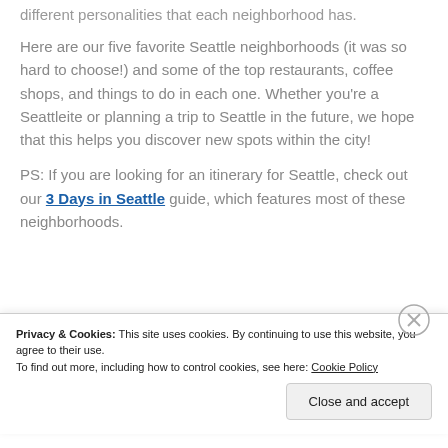different personalities that each neighborhood has.
Here are our five favorite Seattle neighborhoods (it was so hard to choose!) and some of the top restaurants, coffee shops, and things to do in each one. Whether you're a Seattleite or planning a trip to Seattle in the future, we hope that this helps you discover new spots within the city!
PS: If you are looking for an itinerary for Seattle, check out our 3 Days in Seattle guide, which features most of these neighborhoods.
Privacy & Cookies: This site uses cookies. By continuing to use this website, you agree to their use.
To find out more, including how to control cookies, see here: Cookie Policy
Close and accept